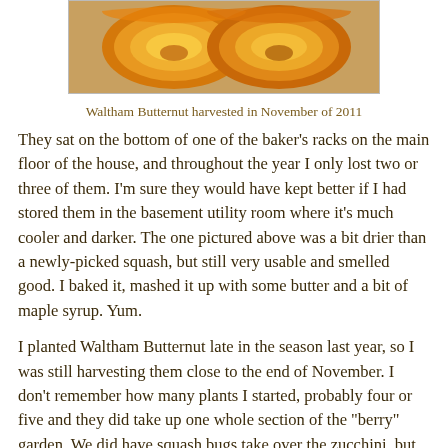[Figure (photo): Two halved Waltham Butternut squash showing orange flesh, placed on a wooden surface.]
Waltham Butternut harvested in November of 2011
They sat on the bottom of one of the baker's racks on the main floor of the house, and throughout the year I only lost two or three of them.  I'm sure they would have kept better if I had stored them in the basement utility room where it's much cooler and darker.  The one pictured above was a bit drier than a newly-picked squash, but still very usable and smelled good.  I baked it, mashed it up with some butter and a bit of maple syrup.  Yum.
I planted Waltham Butternut late in the season last year, so I was still harvesting them close to the end of November.  I don't remember how many plants I started, probably four or five and they did take up one whole section of the "berry" garden.  We did have squash bugs take over the zucchini, but they didn't seem to wander over to the butternut much.  No powdery mildew either although I don't know if winter squash are prone to that.....unlike my Patty Pan and Yellow Crookneck this summer.  And although I'm a bit upset at